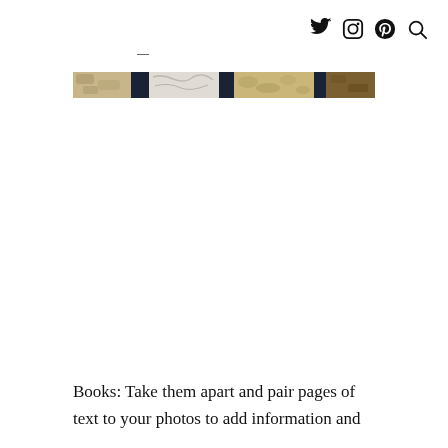Twitter Instagram Pinterest Search
[Figure (photo): A wide horizontal banner image showing mixed textures and patterns including animal prints, dark navy, tan/gold tones, and abstract textures arranged in a collage-like strip.]
Books: Take them apart and pair pages of text to your photos to add information and